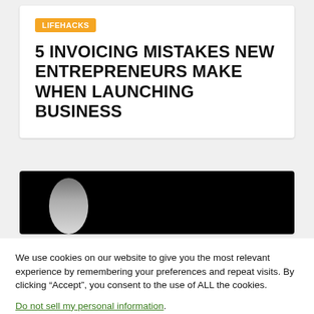LIFEHACKS
5 INVOICING MISTAKES NEW ENTREPRENEURS MAKE WHEN LAUNCHING BUSINESS
[Figure (photo): Dark background image with a partially visible figure, appears to be a person silhouette against black background.]
We use cookies on our website to give you the most relevant experience by remembering your preferences and repeat visits. By clicking “Accept”, you consent to the use of ALL the cookies.
Do not sell my personal information.
Cookie Settings  Accept